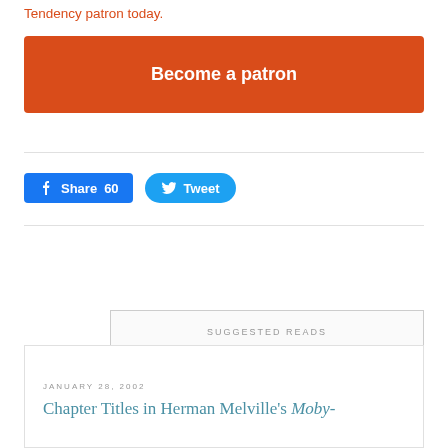Tendency patron today.
Become a patron
Share 60
Tweet
SUGGESTED READS
JANUARY 28, 2002
Chapter Titles in Herman Melville's Moby-